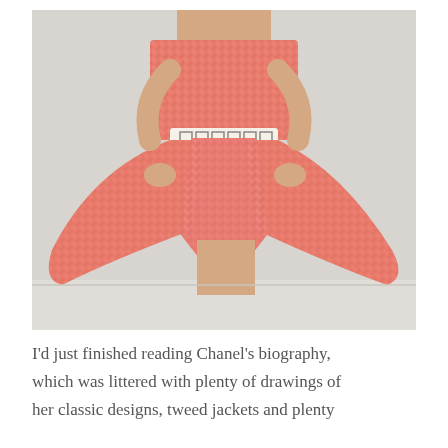[Figure (photo): A woman wearing a coral/salmon pink tweed mini dress with a full skirt and a white decorative belt at the waist, posed against a light wall background.]
I'd just finished reading Chanel's biography, which was littered with plenty of drawings of her classic designs, tweed jackets and plenty